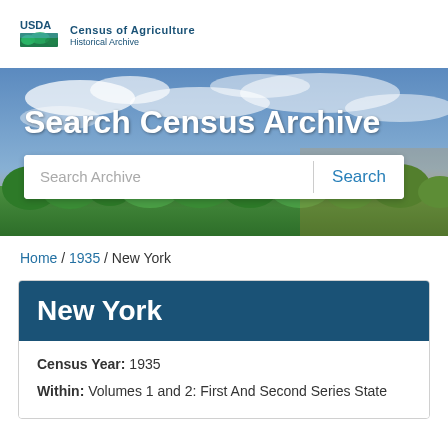USDA Census of Agriculture Historical Archive
[Figure (screenshot): Hero banner with landscape photo (sky with clouds, green hills and trees) and 'Search Census Archive' heading with search bar]
Search Census Archive
Search Archive | Search
Home / 1935 / New York
New York
Census Year: 1935
Within: Volumes 1 and 2: First And Second Series State